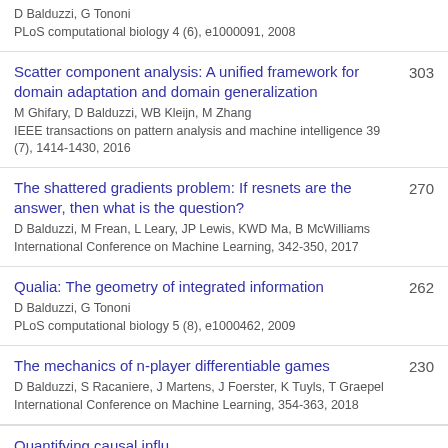D Balduzzi, G Tononi
PLoS computational biology 4 (6), e1000091, 2008
Scatter component analysis: A unified framework for domain adaptation and domain generalization
M Ghifary, D Balduzzi, WB Kleijn, M Zhang
IEEE transactions on pattern analysis and machine intelligence 39 (7), 1414-1430, 2016
303
The shattered gradients problem: If resnets are the answer, then what is the question?
D Balduzzi, M Frean, L Leary, JP Lewis, KWD Ma, B McWilliams
International Conference on Machine Learning, 342-350, 2017
270
Qualia: The geometry of integrated information
D Balduzzi, G Tononi
PLoS computational biology 5 (8), e1000462, 2009
262
The mechanics of n-player differentiable games
D Balduzzi, S Racaniere, J Martens, J Foerster, K Tuyls, T Graepel
International Conference on Machine Learning, 354-363, 2018
230
Quantifying causal influence...